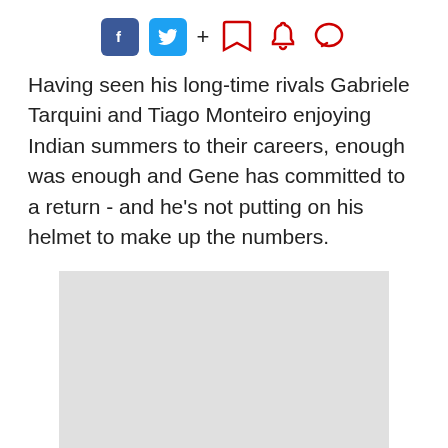Social sharing icons: Facebook, Twitter, plus, bookmark, bell, comment
Having seen his long-time rivals Gabriele Tarquini and Tiago Monteiro enjoying Indian summers to their careers, enough was enough and Gene has committed to a return - and he’s not putting on his helmet to make up the numbers.
[Figure (photo): A light gray placeholder image block]